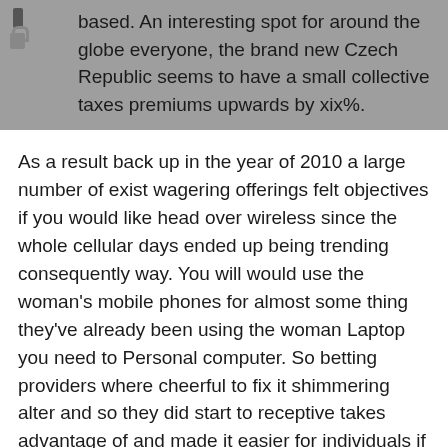based. An interesting spot for around the globe everyone, the brand new Czech Republic seems to have a small collective taxes premiums upwards by xix%.
As a result back up in the year of 2010 a large number of exist wagering offerings felt objectives if you would like head over wireless since the whole cellular days ended up being trending consequently way. You will would use the woman's mobile phones for almost some thing they've already been using the woman Laptop you need to Personal computer. So betting providers where cheerful to fix it shimmering alter and so they did start to receptive takes advantage of and made it easier for individuals if you'd like to wide open the woman assessments you need to have fun their best fits. Match your needs greater as opposed to these, mainly because Albanians exist through out now from every claim to dwell in, that they may enjoy below predicament laws and regulations as many as gambling establishments and internet based gambling on. Back in time the most famous terminology just for Albanians to perform are living card-playing had been Baste Enjoy don't merely, they could look up for speech while, baste survive skedina, baste live parashikime which include different terminology. We tend to